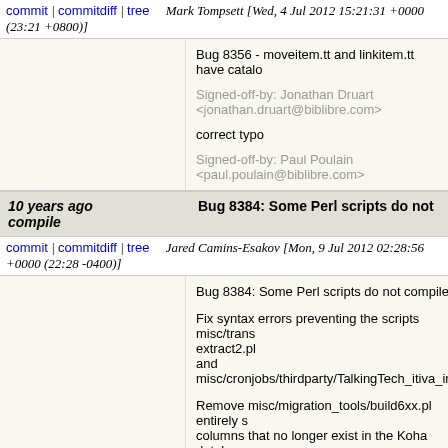commit | commitdiff | tree   Mark Tompsett [Wed, 4 Jul 2012 15:21:31 +0000 (23:21 +0800)]
Bug 8356 - moveitem.tt and linkitem.tt have catalo
Signed-off-by: Jonathan Druart <jonathan.druart@biblibre.com>
correct typo
Signed-off-by: Paul Poulain <paul.poulain@biblibre.com>
10 years ago   Bug 8384: Some Perl scripts do not compile
commit | commitdiff | tree   Jared Camins-Esakov [Mon, 9 Jul 2012 02:28:56 +0000 (22:28 -0400)]
Bug 8384: Some Perl scripts do not compile

Fix syntax errors preventing the scripts misc/trans extract2.pl and misc/cronjobs/thirdparty/TalkingTech_itiva_inb

Remove misc/migration_tools/build6xx.pl entirely s columns that no longer exist in the Koha database had broken encoding since Koha switched from C

Signed-off-by: Chris Cormack <chris@bigballofwax.co.nz>
Signed-off-by: Paul Poulain